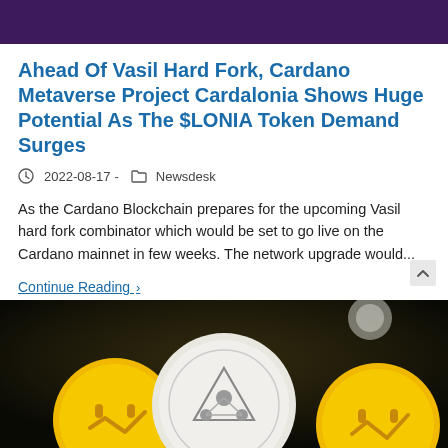Ahead Of Vasil Hard Fork, Cardano Metaverse Project Cardalonia Shows Huge Potential As The $LONIA Token Demand Surges
2022-08-17 · Newsdesk
As the Cardano Blockchain prepares for the upcoming Vasil hard fork combinator which would be set to go live on the Cardano mainnet in few weeks. The network upgrade would...
Continue Reading ›
[Figure (photo): Dark background photo showing cryptocurrency coins including yellow smiley-face coins and a white coin with an emblem in the center]